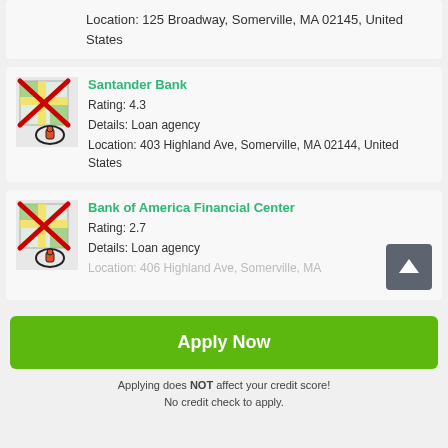Location: 125 Broadway, Somerville, MA 02145, United States
Santander Bank
Rating: 4.3
Details: Loan agency
Location: 403 Highland Ave, Somerville, MA 02144, United States
[Figure (illustration): Map icon with red X overlay and location pin, for Santander Bank listing]
Bank of America Financial Center
Rating: 2.7
Details: Loan agency
Location: 406 Highland Ave, Somerville, MA
[Figure (illustration): Map icon with red X overlay and location pin, for Bank of America Financial Center listing]
Apply Now
Applying does NOT affect your credit score! No credit check to apply.